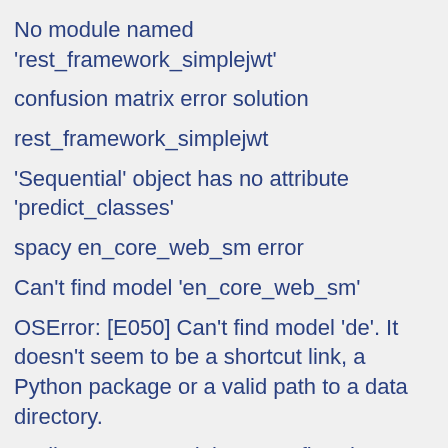No module named 'rest_framework_simplejwt'
confusion matrix error solution
rest_framework_simplejwt
'Sequential' object has no attribute 'predict_classes'
spacy en_core_web_sm error
Can't find model 'en_core_web_sm'
OSError: [E050] Can't find model 'de'. It doesn't seem to be a shortcut link, a Python package or a valid path to a data directory.
AttributeError: module 'tensorflow' has no attribute 'Session' site:stackoverflow.com
how to import reverse
No module named 'django.core.urlresolvers'
ModuleNotFoundError: No module named